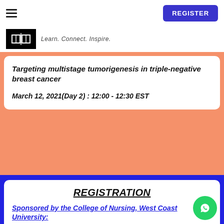REGISTER
[Figure (logo): Logo box with open book icon and tagline: Learn. Connect. Inspire.]
Targeting multistage tumorigenesis in triple-negative breast cancer
March 12, 2021(Day 2) : 12:00 - 12:30 EST
REGISTRATION
Sponsored by the College of Nursing, West Coast University: